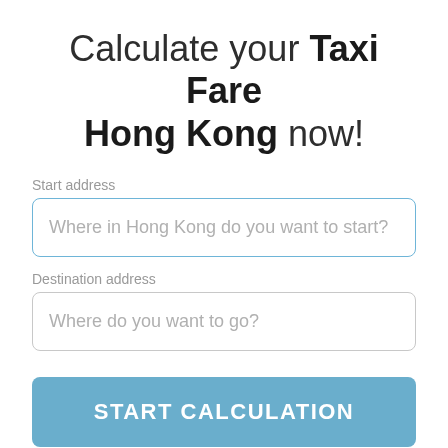Calculate your Taxi Fare Hong Kong now!
Start address
Where in Hong Kong do you want to start?
Destination address
Where do you want to go?
START CALCULATION